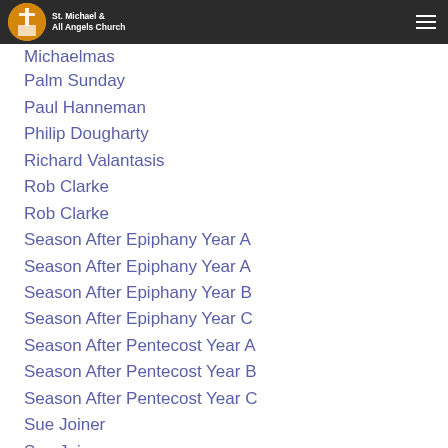St. Michael & All Angels Church
Michaelmas
Palm Sunday
Paul Hanneman
Philip Dougharty
Richard Valantasis
Rob Clarke
Rob Clarke
Season After Epiphany Year A
Season After Epiphany Year A
Season After Epiphany Year B
Season After Epiphany Year C
Season After Pentecost Year A
Season After Pentecost Year B
Season After Pentecost Year C
Sue Joiner
Sue Joiner
Susan Allison Hatch
Thanksgiving Eve
The Rev. Joe Britton
Transfiguration Sunday
Trinity Sunday
Valentines Day
William Hoelzel